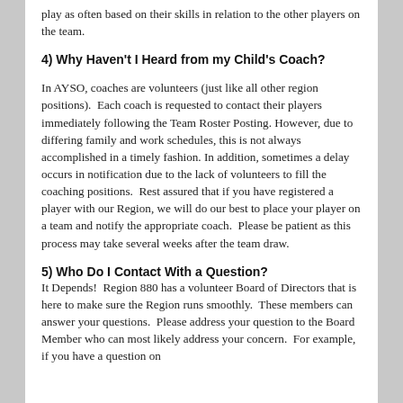play as often based on their skills in relation to the other players on the team.
4) Why Haven't I Heard from my Child's Coach?
In AYSO, coaches are volunteers (just like all other region positions).  Each coach is requested to contact their players immediately following the Team Roster Posting. However, due to differing family and work schedules, this is not always accomplished in a timely fashion. In addition, sometimes a delay occurs in notification due to the lack of volunteers to fill the coaching positions.  Rest assured that if you have registered a player with our Region, we will do our best to place your player on a team and notify the appropriate coach.  Please be patient as this process may take several weeks after the team draw.
5) Who Do I Contact With a Question?
It Depends!  Region 880 has a volunteer Board of Directors that is here to make sure the Region runs smoothly.  These members can answer your questions.  Please address your question to the Board Member who can most likely address your concern.  For example, if you have a question on